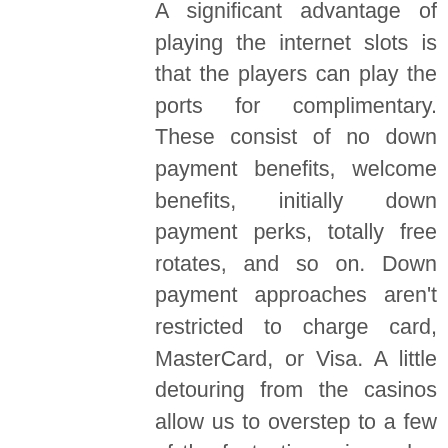A significant advantage of playing the internet slots is that the players can play the ports for complimentary. These consist of no down payment benefits, welcome benefits, initially down payment perks, totally free rotates, and so on. Down payment approaches aren't restricted to charge card, MasterCard, or Visa. A little detouring from the casinos allow us to overstep to a few of the fantastic casino poker gamers as well as their galleries. Johnny Chan is among minority casino poker gamers to have won the WSOP primary occasion a lot more than once, as